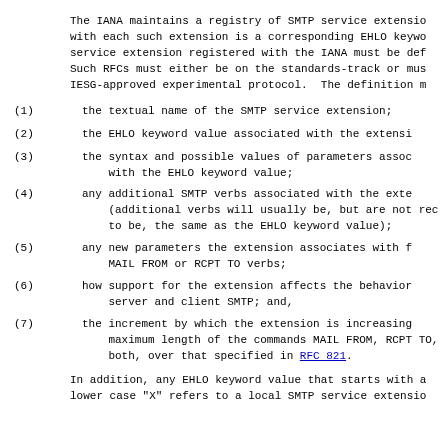The IANA maintains a registry of SMTP service extensions with each such extension is a corresponding EHLO keyword. A service extension registered with the IANA must be defined in an RFC. Such RFCs must either be on the standards-track or must specify an IESG-approved experimental protocol. The definition must include:
(1)   the textual name of the SMTP service extension;
(2)   the EHLO keyword value associated with the extension;
(3)   the syntax and possible values of parameters associated with the EHLO keyword value;
(4)   any additional SMTP verbs associated with the extension (additional verbs will usually be, but are not required to be, the same as the EHLO keyword value);
(5)   any new parameters the extension associates with the MAIL FROM or RCPT TO verbs;
(6)   how support for the extension affects the behavior of a server and client SMTP; and,
(7)   the increment by which the extension is increasing the maximum length of the commands MAIL FROM, RCPT TO, or both, over that specified in RFC 821.
In addition, any EHLO keyword value that starts with a lower case "X" refers to a local SMTP service extension.